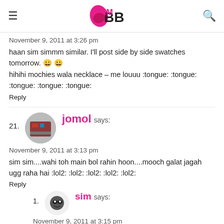IMBB
November 9, 2011 at 3:26 pm
haan sim simmm similar. I'll post side by side swatches tomorrow. 😀 😀
hihihi mochies wala necklace – me louuu :tongue: :tongue: :tongue: :tongue: :tongue:
Reply
21. jomol says:
November 9, 2011 at 3:13 pm
sim sim....wahi toh main bol rahin hoon....mooch galat jagah ugg raha hai :lol2: :lol2: :lol2: :lol2: :lol2:
Reply
1. sim says:
November 9, 2011 at 3:15 pm